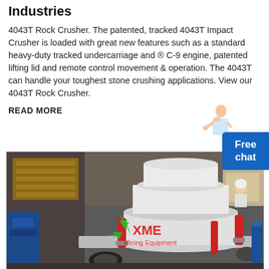Industries
4043T Rock Crusher. The patented, tracked 4043T Impact Crusher is loaded with great new features such as a standard heavy-duty tracked undercarriage and ® C-9 engine, patented lifting lid and remote control movement & operation. The 4043T can handle your toughest stone crushing applications. View our 4043T Rock Crusher.
READ MORE
[Figure (photo): Industrial rock crusher machine (XME Mining Equipment) photographed in a factory/warehouse setting. The machine is large, white and grey in color with red hydraulic components, displayed with a green recycling logo and XME Mining Equipment text overlay.]